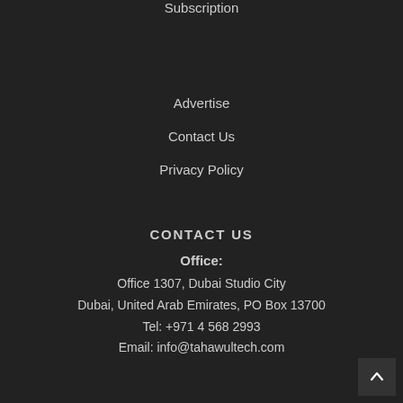Subscription
Advertise
Contact Us
Privacy Policy
CONTACT US
Office:
Office 1307, Dubai Studio City
Dubai, United Arab Emirates, PO Box 13700
Tel: +971 4 568 2993
Email: info@tahawultech.com